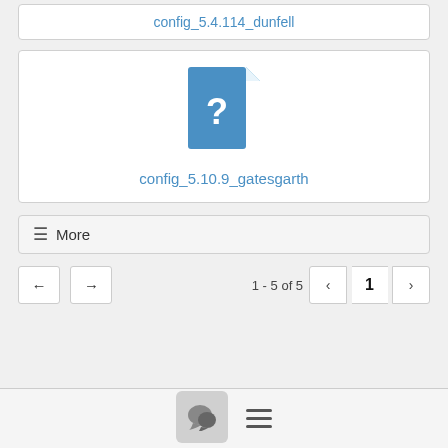config_5.4.114_dunfell
[Figure (illustration): Blue unknown file icon with question mark]
config_5.10.9_gatesgarth
≡ More
← →
1 - 5 of 5
1
[Figure (illustration): Chat bubble icon button and hamburger menu icon in footer bar]